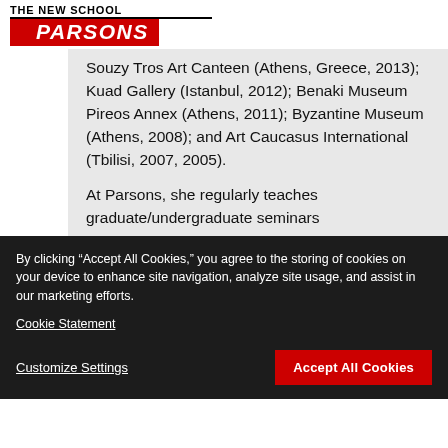THE NEW SCHOOL PARSONS
Souzy Tros Art Canteen (Athens, Greece, 2013); Kuad Gallery (Istanbul, 2012); Benaki Museum Pireos Annex (Athens, 2011); Byzantine Museum (Athens, 2008); and Art Caucasus International (Tbilisi, 2007, 2005).
At Parsons, she regularly teaches graduate/undergraduate seminars
By clicking “Accept All Cookies,” you agree to the storing of cookies on your device to enhance site navigation, analyze site usage, and assist in our marketing efforts.
Cookie Statement
Customize Settings
Accept All Cookies